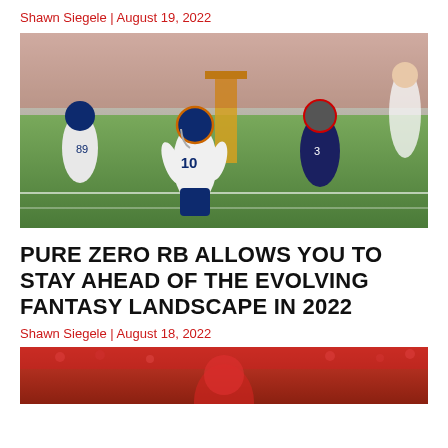Shawn Siegele | August 19, 2022
[Figure (photo): NFL football game action photo showing Denver Broncos player #10 in white uniform facing off against New England Patriots defender #3 in dark uniform on a green field]
PURE ZERO RB ALLOWS YOU TO STAY AHEAD OF THE EVOLVING FANTASY LANDSCAPE IN 2022
Shawn Siegele | August 18, 2022
[Figure (photo): Partial photo of an NFL game showing players in red uniforms with a crowd in the background]